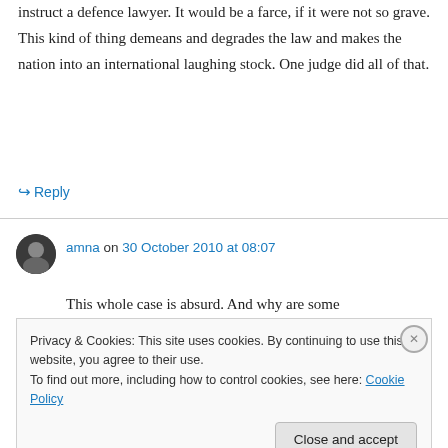instruct a defence lawyer. It would be a farce, if it were not so grave. This kind of thing demeans and degrades the law and makes the nation into an international laughing stock. One judge did all of that.
↳ Reply
amna on 30 October 2010 at 08:07
This whole case is absurd. And why are some
Privacy & Cookies: This site uses cookies. By continuing to use this website, you agree to their use.
To find out more, including how to control cookies, see here: Cookie Policy